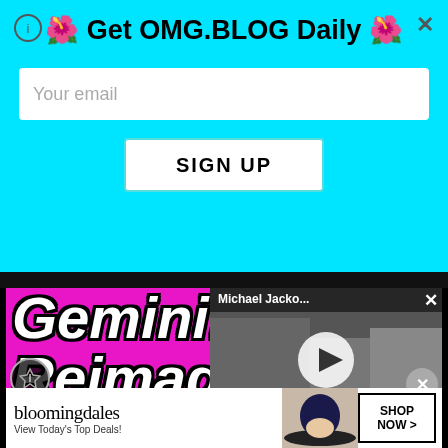🌺 Get OMG.BLOG Daily 🌺
Your email
SIGN UP
[Figure (screenshot): Gemini: Reimagi[ned] [and] ne what [it can be] — promotional graphic on magenta/pink background with large bold italic white text with black outline. Overlaid with a video thumbnail showing Michael Jacko... with a play button, and a Bloomingdale's ad banner at bottom.]
Michael Jacko...
bloomingdales — View Today's Top Deals!
SHOP NOW >